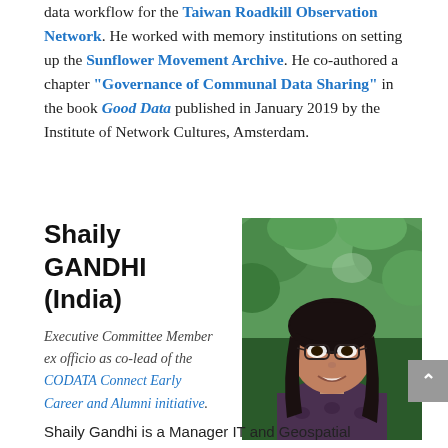data workflow for the Taiwan Roadkill Observation Network. He worked with memory institutions on setting up the Sunflower Movement Archive. He co-authored a chapter "Governance of Communal Data Sharing" in the book Good Data published in January 2019 by the Institute of Network Cultures, Amsterdam.
Shaily GANDHI (India)
Executive Committee Member ex officio as co-lead of the CODATA Connect Early Career and Alumni initiative.
[Figure (photo): Portrait photo of Shaily Gandhi, a young woman with dark hair and glasses, smiling, with a green outdoor background]
Shaily Gandhi is a Manager IT and Geospatial